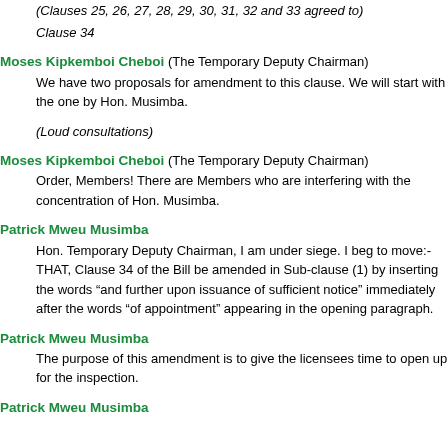(Clauses 25, 26, 27, 28, 29, 30, 31, 32 and 33 agreed to)
Clause 34
Moses Kipkemboi Cheboi (The Temporary Deputy Chairman) We have two proposals for amendment to this clause. We will start with the one by Hon. Musimba.
(Loud consultations)
Moses Kipkemboi Cheboi (The Temporary Deputy Chairman) Order, Members! There are Members who are interfering with the concentration of Hon. Musimba.
Patrick Mweu Musimba Hon. Temporary Deputy Chairman, I am under siege. I beg to move:- THAT, Clause 34 of the Bill be amended in Sub-clause (1) by inserting the words “and further upon issuance of sufficient notice” immediately after the words “of appointment” appearing in the opening paragraph.
Patrick Mweu Musimba The purpose of this amendment is to give the licensees time to open up for the inspection.
Patrick Mweu Musimba